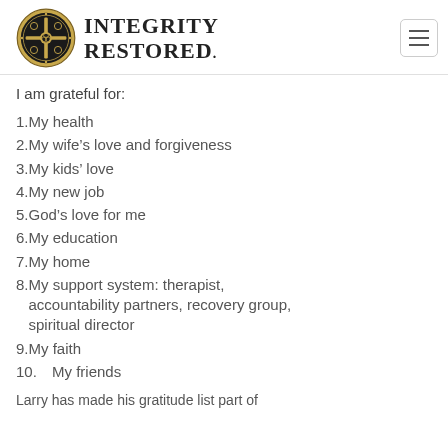[Figure (logo): Integrity Restored logo with ornate circular emblem and serif text]
I am grateful for:
My health
My wife's love and forgiveness
My kids' love
My new job
God's love for me
My education
My home
My support system: therapist, accountability partners, recovery group, spiritual director
My faith
My friends
Larry has made his gratitude list part of